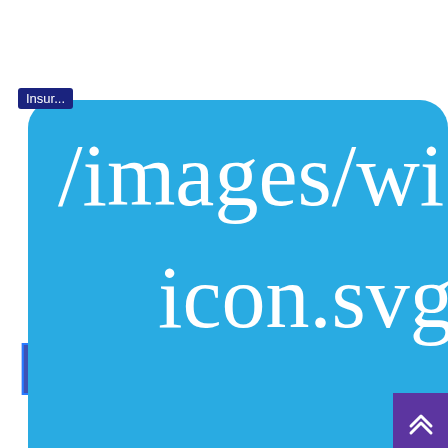Insur...
[Figure (screenshot): A large blue rounded-rectangle tooltip/popup showing the path text '/images/wi...' on the first line and 'icon.svg' on the second line, displayed in white serif font on a sky-blue background. Below the tooltip is partially visible large gradient text reading 'EST FOR' or similar. A purple scroll-to-top button with double chevron is in the bottom-right corner.]